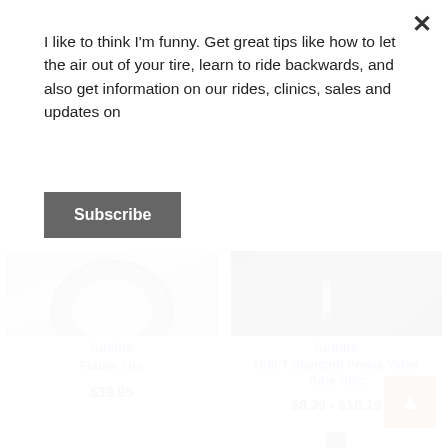I like to think I'm funny. Get great tips like how to let the air out of your tire, learn to ride backwards, and also get information on our rides, clinics, sales and updates on
Subscribe
[Figure (photo): Product image of Sunlite Flame Tire (top portion visible)]
[Figure (photo): Product image of Sunlite Utili-T Standard Presta Valve Tube 700c (valve stem visible against dark tube)]
Sunlite
Flame Tire
$39.95
Sunlite
Utili-T Standard Presta Valve Tube 700c
$8.39 - $10.19
[Figure (photo): Product image of a knobby black bicycle tire (bottom, partially visible)]
[Figure (photo): Product image of a tube valve or similar cylindrical bicycle component (bottom, partially visible)]